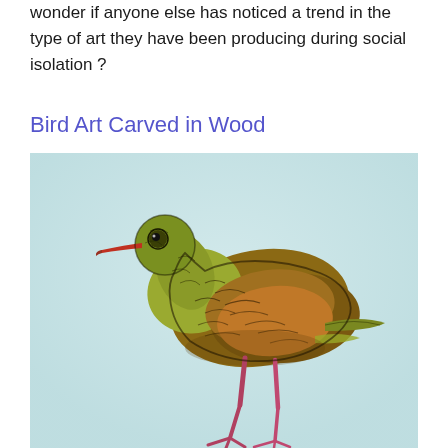wonder if anyone else has noticed a trend in the type of art they have been producing during social isolation ?
Bird Art Carved in Wood
[Figure (illustration): A carved and painted wooden bird sculpture depicted standing on a surface, with yellow-green and brown feather coloring, a red beak, and pink-red legs. The bird appears to be a shorebird or wading bird type. The background is light blue-gray.]